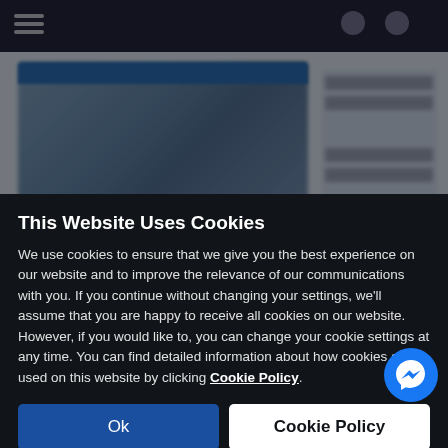[Figure (screenshot): Blurred website background showing a dark navigation bar at top and blurred content cards below, partially obscured by a dark overlay.]
This Website Uses Cookies
We use cookies to ensure that we give you the best experience on our website and to improve the relevance of our communications with you. If you continue without changing your settings, we'll assume that you are happy to receive all cookies on our website. However, if you would like to, you can change your cookie settings at any time. You can find detailed information about how cookies are used on this website by clicking Cookie Policy.